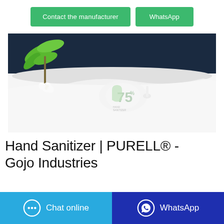[Figure (other): Two green action buttons: 'Contact the manufacturer' and 'WhatsApp' on white background]
[Figure (photo): Product photo of a PURELL hand sanitizer bottle (75% label, green/yellow design) lying on a white surface with a green plant in the background and dark blue backdrop]
Hand Sanitizer | PURELL® - Gojo Industries
[Figure (other): Two bottom CTA buttons: 'Chat online' (light blue) and 'WhatsApp' (dark blue/indigo)]